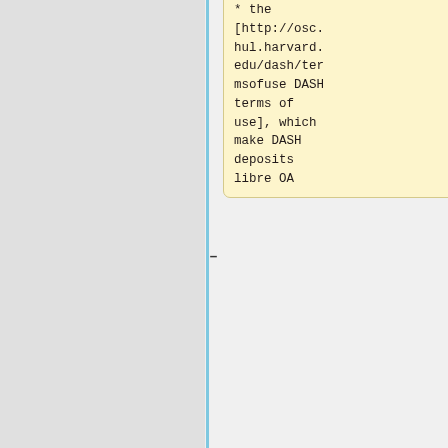* the [http://osc.hul.harvard.edu/dash/termsofuse DASH terms of use], which make DASH deposits libre OA
* PS article on [http://www.earlham.edu/~peters/fos/newsletter/02-02-09.htm#choicepoints OA